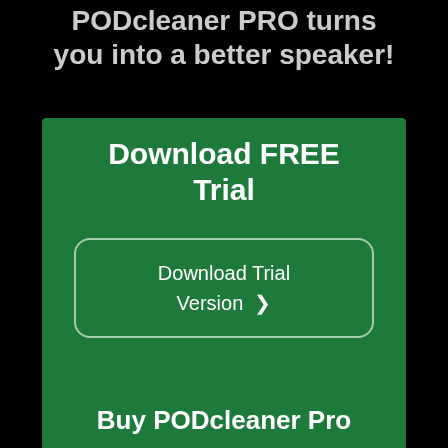PODcleaner PRO turns you into a better speaker!
Download FREE Trial
Download Trial Version >
Buy PODcleaner Pro